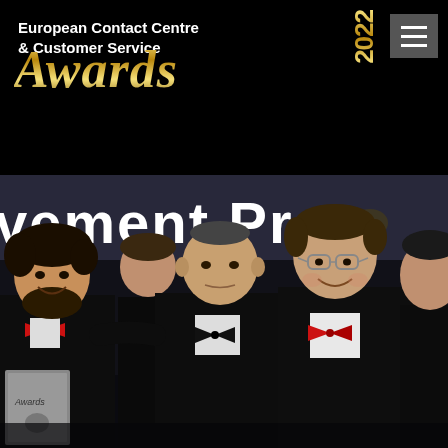[Figure (logo): European Contact Centre & Customer Service Awards 2022 logo on black header bar with gold script 'Awards' text and year, plus hamburger menu button]
[Figure (photo): Group photo of four men in formal black tuxedos with red bow ties (except one with black bow tie) at an awards ceremony. Behind them is a dark stage backdrop with white text reading '...vement Prog...' (partial text visible). One man holds an Awards trophy/plaque. The men are smiling and posing together.]